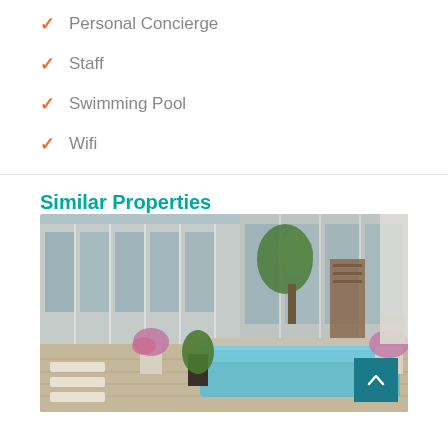Personal Concierge
Staff
Swimming Pool
Wifi
Similar Properties
[Figure (photo): Outdoor pool area of a luxury property with glass-facade building, sun loungers, flowering plants, and a palm tree in the background.]